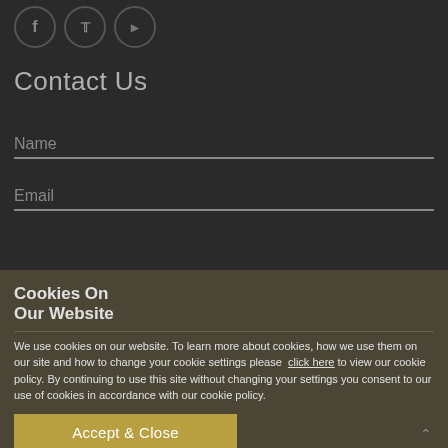[Figure (illustration): Three circular social media icons for Facebook, Twitter, and YouTube, partially visible at top]
Contact Us
Name
Email
Cookies On Our Website
We use cookies on our website. To learn more about cookies, how we use them on our site and how to change your cookie settings please click here to view our cookie policy. By continuing to use this site without changing your settings you consent to our use of cookies in accordance with our cookie policy.
Accept & Close